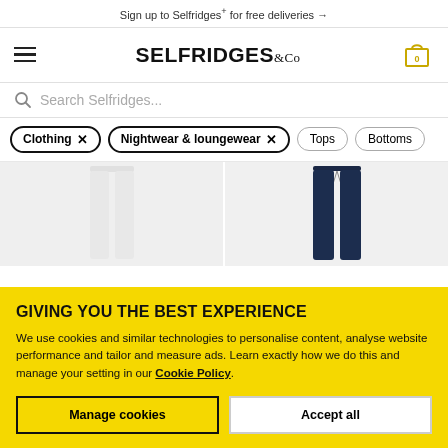Sign up to Selfridges+ for free deliveries →
[Figure (logo): Selfridges & Co logo with hamburger menu and cart icon]
Search Selfridges...
Clothing ×
Nightwear & loungewear ×
Tops
Bottoms
[Figure (photo): Two product images: white lounge pants on left, navy drawstring pants on right]
GIVING YOU THE BEST EXPERIENCE
We use cookies and similar technologies to personalise content, analyse website performance and tailor and measure ads. Learn exactly how we do this and manage your setting in our Cookie Policy.
Manage cookies
Accept all